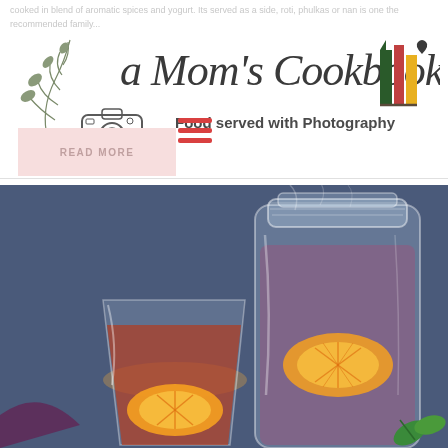cooked in blend of aromatic spices and yogurt. Its served as a side, roti, phulkas or nan is one the recommended family...
[Figure (logo): A Mom's Cookbook logo with cursive italic text, decorative leaf branch, camera illustration, and stacked books icon. Subtitle: Food served with Photography]
READ MORE
[Figure (photo): Food photograph showing glass mason jars with orange slices and colorful fruit-infused water drink on a dark blue textured background]